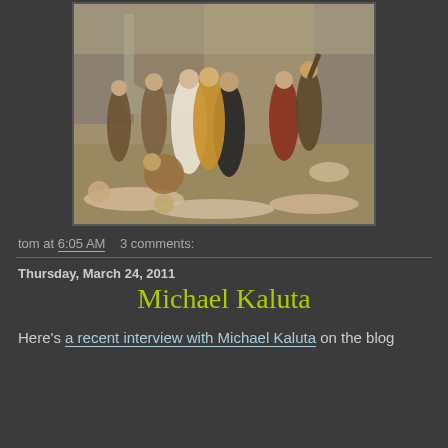[Figure (illustration): Historical painting depicting a violent scene with figures in Renaissance-era clothing, including a woman in white dress and another in black, with bodies lying on the ground, set against a castle backdrop.]
tom at 6:05 AM    3 comments:
Thursday, March 24, 2011
Michael Kaluta
Here's a recent interview with Michael Kaluta on the blog